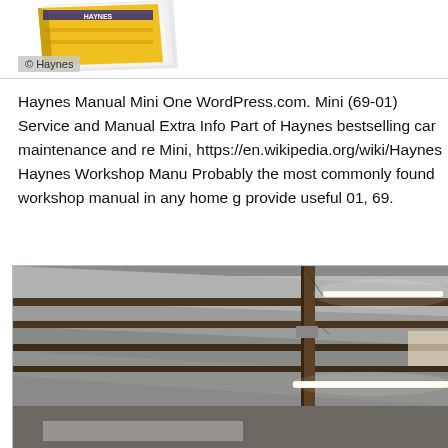[Figure (photo): Haynes Manual book cover illustration with yellow spine, partial view at top of page with copyright badge reading '© Haynes']
Haynes Manual Mini One WordPress.com. Mini (69-01) Service and Manual Extra Info Part of Haynes bestselling car maintenance and re... Mini, https://en.wikipedia.org/wiki/Haynes Haynes Workshop Manu... Probably the most commonly found workshop manual in any home g... provide useful 01, 69.
[Figure (photo): Interior photograph of a garage or workshop showing ceiling rafters/beams with white insulation or sheeting between them, and fluorescent light fixtures visible.]